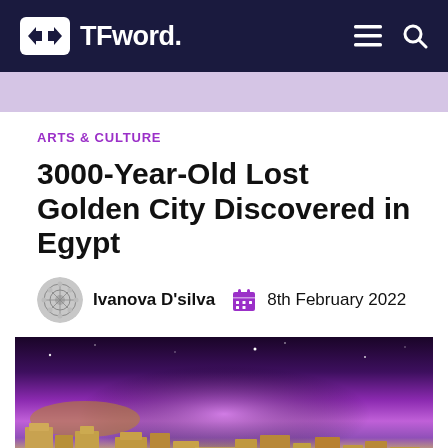TFword.
ARTS & CULTURE
3000-Year-Old Lost Golden City Discovered in Egypt
Ivanova D'silva  8th February 2022
[Figure (photo): Archaeological ruins of ancient Egyptian city with dramatic purple and starry night sky overhead, desert landscape]